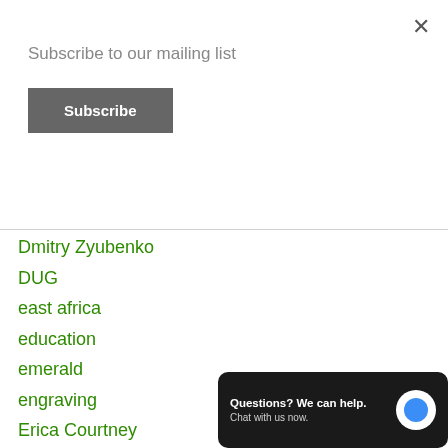Subscribe to our mailing list
Subscribe
Dmitry Zyubenko
DUG
east africa
education
emerald
engraving
Erica Courtney
Estonia
Estonian Academy of Arts
ethical mining
Questions? We can help. Chat with us now.